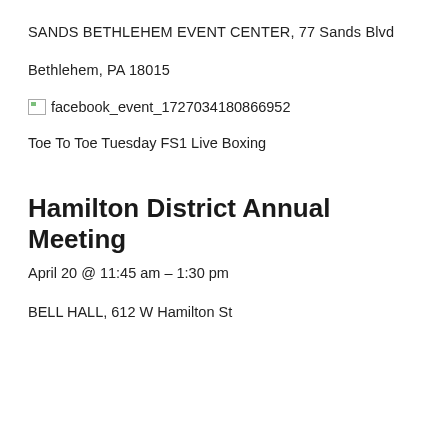SANDS BETHLEHEM EVENT CENTER, 77 Sands Blvd
Bethlehem, PA 18015
[Figure (other): Broken image placeholder for facebook_event_1727034180866952]
Toe To Toe Tuesday FS1 Live Boxing
Hamilton District Annual Meeting
April 20 @ 11:45 am – 1:30 pm
BELL HALL, 612 W Hamilton St